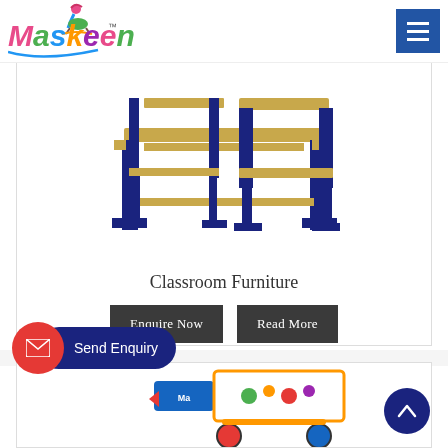[Figure (logo): Maskeen brand logo with colorful letters and child on rocking horse icon, with trademark symbol]
[Figure (photo): Dark navy blue and natural wood colored children's classroom furniture set - school bench/desk combination]
Classroom Furniture
Enquire Now
Read More
[Figure (screenshot): Send Enquiry button - red circle with mail icon and dark blue pill-shaped button with white text 'Send Enquiry']
[Figure (photo): Partial view of colorful children's toy/activity product in bottom card area]
[Figure (other): Dark navy back-to-top arrow button circle on bottom right]